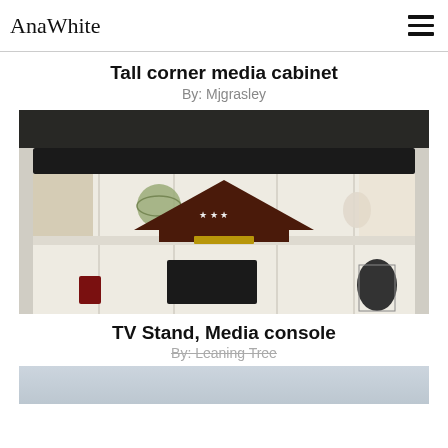AnaWhite
Tall corner media cabinet
By: Mjgrasley
[Figure (photo): Photo of a white wooden corner media cabinet with open shelves. A black soundbar sits at the top. The middle shelf holds a decorative globe, a triangular military flag display case, and a small vase with flowers. The bottom shelf contains a small red item, a dark electronics device, and a checkered vase. The cabinet has white painted wood paneling on the back wall.]
TV Stand, Media console
By: Leaning Tree
[Figure (photo): Partial view of bottom of page showing a blurred/faded light blue-grey image, likely another furniture photo.]